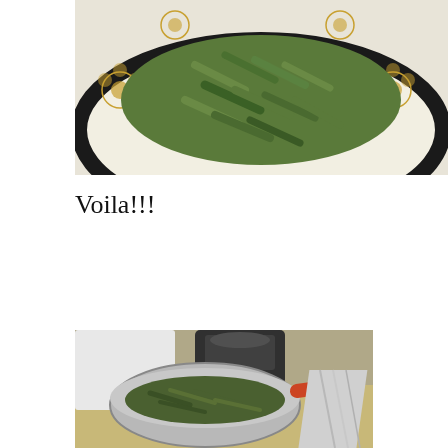[Figure (photo): A white plate with gold floral pattern containing raw green beans cut diagonally, viewed from above on a kitchen surface.]
Voila!!!
[Figure (photo): A silver pot with a red handle sitting on a kitchen surface with a food scale in the background, containing cooked green beans. Aluminum foil is visible on the right side.]
I cooked green beans they are extremely healthy! Almost similar to drinking water! lol A